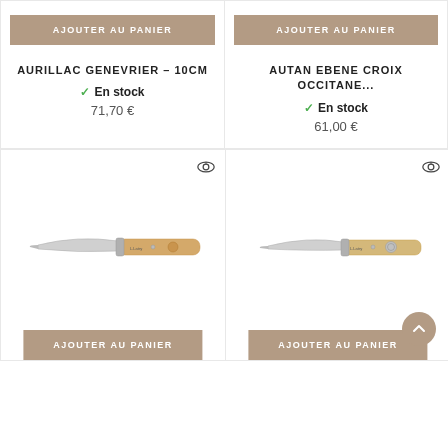[Figure (photo): Product card top-left: AURILLAC GENEVRIER knife with 'AJOUTER AU PANIER' button]
AURILLAC GENEVRIER – 10CM
En stock
71,70 €
[Figure (photo): Product card top-right: AUTAN EBENE CROIX OCCITANE knife with 'AJOUTER AU PANIER' button]
AUTAN EBENE CROIX OCCITANE...
En stock
61,00 €
[Figure (photo): Product card bottom-left: folding knife with wooden handle, eye icon, 'AJOUTER AU PANIER' button]
[Figure (photo): Product card bottom-right: folding knife with lighter wooden handle, eye icon, 'AJOUTER AU PANIER' button, scroll-to-top button]